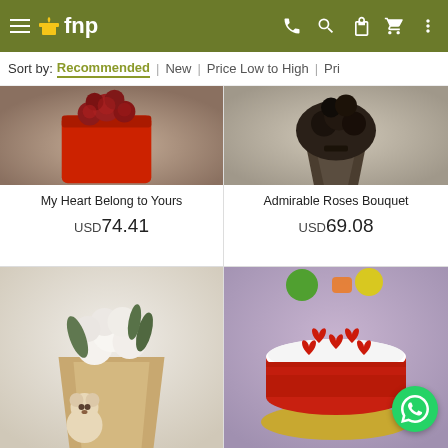fnp - navigation bar with hamburger menu, logo, phone, search, gift, cart, and more icons
Sort by: Recommended | New | Price Low to High | Pri...
[Figure (photo): Red heart-shaped box with roses - product image for My Heart Belong to Yours]
My Heart Belong to Yours
USD 74.41
[Figure (photo): Dark wrapped roses bouquet - product image for Admirable Roses Bouquet]
Admirable Roses Bouquet
USD 69.08
[Figure (photo): White flowers bouquet wrapped in kraft paper with small teddy bear]
[Figure (photo): Red velvet cake with heart decorations on purple background]